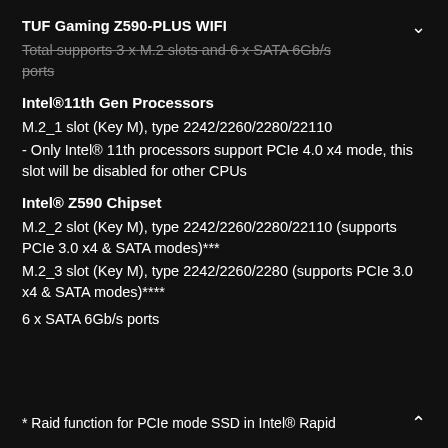TUF Gaming Z590-PLUS WIFI
Total supports 3 x M.2 slots and 6 x SATA 6Gb/s ports
Intel®11th Gen Processors
M.2_1 slot (Key M), type 2242/2260/2280/22110
- Only Intel® 11th processors support PCIe 4.0 x4 mode, this slot will be disabled for other CPUs
Intel® Z590 Chipset
M.2_2 slot (Key M), type 2242/2260/2280/22110 (supports PCIe 3.0 x4 & SATA modes)***
M.2_3 slot (Key M), type 2242/2260/2280 (supports PCIe 3.0 x4 & SATA modes)****
6 x SATA 6Gb/s ports
* Raid function for PCIe mode SSD in Intel® Rapid